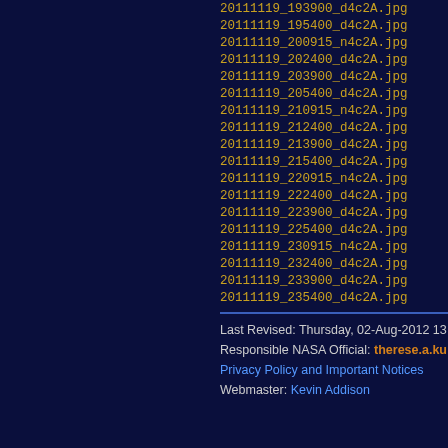20111119_193900_d4c2A.jpg
20111119_195400_d4c2A.jpg
20111119_200915_n4c2A.jpg
20111119_202400_d4c2A.jpg
20111119_203900_d4c2A.jpg
20111119_205400_d4c2A.jpg
20111119_210915_n4c2A.jpg
20111119_212400_d4c2A.jpg
20111119_213900_d4c2A.jpg
20111119_215400_d4c2A.jpg
20111119_220915_n4c2A.jpg
20111119_222400_d4c2A.jpg
20111119_223900_d4c2A.jpg
20111119_225400_d4c2A.jpg
20111119_230915_n4c2A.jpg
20111119_232400_d4c2A.jpg
20111119_233900_d4c2A.jpg
20111119_235400_d4c2A.jpg
Last Revised: Thursday, 02-Aug-2012 13
Responsible NASA Official: therese.a.ku
Privacy Policy and Important Notices
Webmaster: Kevin Addison